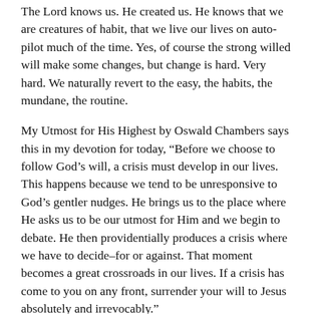The Lord knows us. He created us. He knows that we are creatures of habit, that we live our lives on auto-pilot much of the time. Yes, of course the strong willed will make some changes, but change is hard. Very hard. We naturally revert to the easy, the habits, the mundane, the routine.
My Utmost for His Highest by Oswald Chambers says this in my devotion for today, “Before we choose to follow God’s will, a crisis must develop in our lives. This happens because we tend to be unresponsive to God’s gentler nudges. He brings us to the place where He asks us to be our utmost for Him and we begin to debate. He then providentially produces a crisis where we have to decide–for or against. That moment becomes a great crossroads in our lives. If a crisis has come to you on any front, surrender your will to Jesus absolutely and irrevocably.”
God is nudging you. He is nudging all of us to seek Him, to surrender. And sometimes, unfortunately, he allows trials to